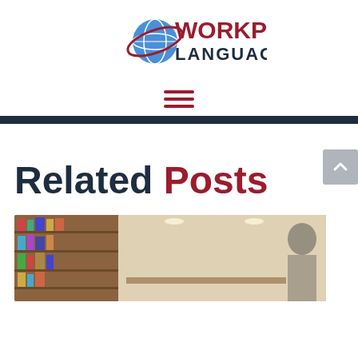[Figure (logo): Workplace Languages logo with globe graphic and red swoosh, company name in red and black text]
[Figure (other): Hamburger menu icon with three horizontal red lines]
Related Posts
[Figure (photo): Photo of a library or bookshelf area with a person visible, warm lighting]